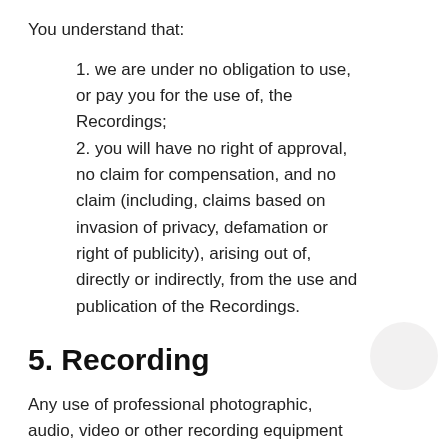You understand that:
1. we are under no obligation to use, or pay you for the use of, the Recordings;
2. you will have no right of approval, no claim for compensation, and no claim (including, claims based on invasion of privacy, defamation or right of publicity), arising out of, directly or indirectly, from the use and publication of the Recordings.
5. Recording
Any use of professional photographic, audio, video or other recording equipment at the Conference is strictly prohibited.